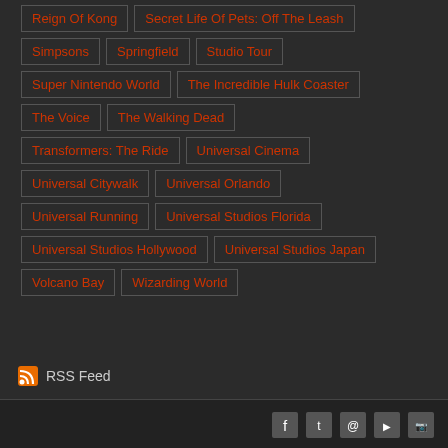Reign Of Kong
Secret Life Of Pets: Off The Leash
Simpsons
Springfield
Studio Tour
Super Nintendo World
The Incredible Hulk Coaster
The Voice
The Walking Dead
Transformers: The Ride
Universal Cinema
Universal Citywalk
Universal Orlando
Universal Running
Universal Studios Florida
Universal Studios Hollywood
Universal Studios Japan
Volcano Bay
Wizarding World
RSS Feed
Footer with social icons